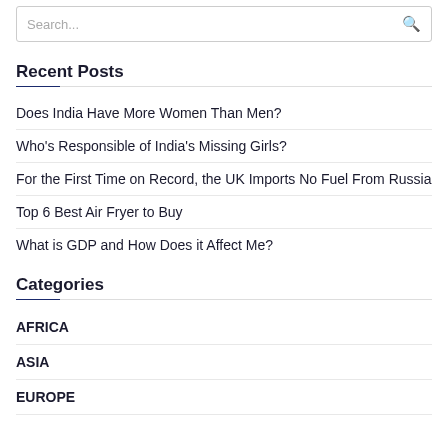Search...
Recent Posts
Does India Have More Women Than Men?
Who's Responsible of India's Missing Girls?
For the First Time on Record, the UK Imports No Fuel From Russia
Top 6 Best Air Fryer to Buy
What is GDP and How Does it Affect Me?
Categories
AFRICA
ASIA
EUROPE